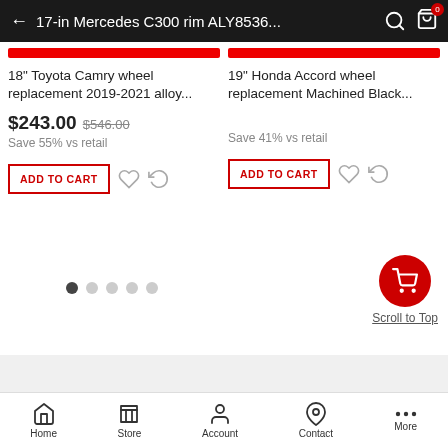← 17-in Mercedes C300 rim ALY8536...
18" Toyota Camry wheel replacement 2019-2021 alloy...
$243.00  $546.00  Save 55% vs retail
19" Honda Accord wheel replacement Machined Black...
Save 41% vs retail
[Figure (screenshot): Pagination dots: 5 dots, first one active (dark)]
Scroll to Top
Home  Store  Account  Contact  More